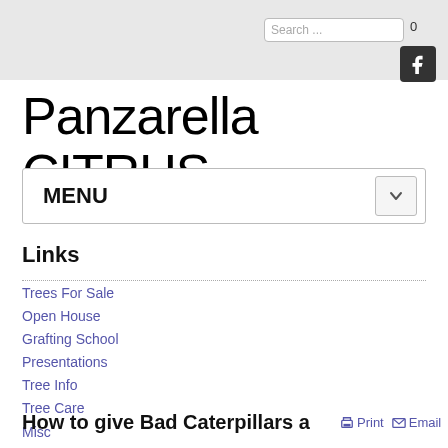Search ... 0
[Figure (logo): Facebook icon button in dark square]
Panzarella CITRUS
MENU
Links
Trees For Sale
Open House
Grafting School
Presentations
Tree Info
Tree Care
Misc
About John
How to give Bad Caterpillars a
Print  Email